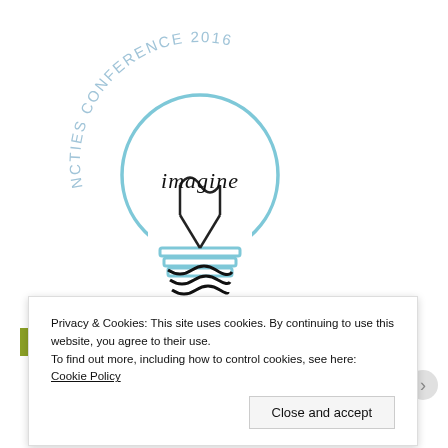[Figure (logo): NCTIES Conference 2016 logo with a light bulb illustration and the word 'imagine' inside the bulb, with 'PRESENTER' text below in teal/cyan color]
Privacy & Cookies: This site uses cookies. By continuing to use this website, you agree to their use.
To find out more, including how to control cookies, see here: Cookie Policy
Close and accept